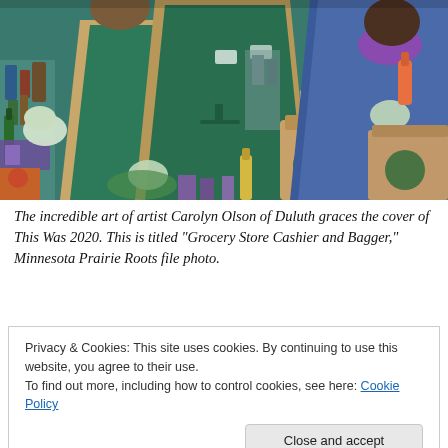[Figure (illustration): Painting of grocery store workers wearing green aprons and blue gloves, with one worker wearing a purple mask, packing grocery bags filled with items. Colorful, stylized artwork by Carolyn Olson.]
The incredible art of artist Carolyn Olson of Duluth graces the cover of This Was 2020. This is titled "Grocery Store Cashier and Bagger," Minnesota Prairie Roots file photo.
Privacy & Cookies: This site uses cookies. By continuing to use this website, you agree to their use.
To find out more, including how to control cookies, see here: Cookie Policy